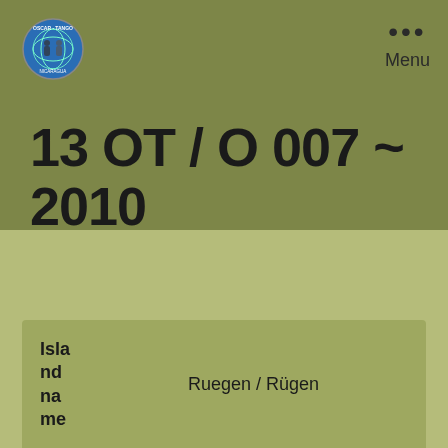[Figure (logo): Oscar Tango logo - circular emblem with globe and figures]
••• Menu
13 OT / O 007 ~ 2010
| Island name |  |
| --- | --- |
| Island name | Ruegen / Rügen |
| Pro |  |